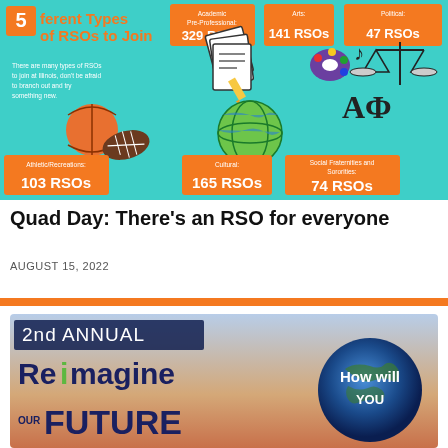[Figure (infographic): Infographic showing 5 different types of RSOs to join at Illinois: Academic/Pre-Professional 329 RSOs, Arts 141 RSOs, Political 47 RSOs, Athletic/Recreations 103 RSOs, Cultural 165 RSOs, Social Fraternities and Sororities 74 RSOs. Teal background with illustrated icons.]
Quad Day: There's an RSO for everyone
AUGUST 15, 2022
[Figure (infographic): 2nd Annual Reimagine Our Future event poster with globe imagery and 'How will YOU' text]